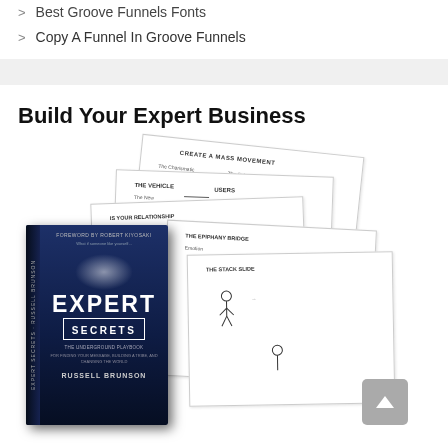Best Groove Funnels Fonts
Copy A Funnel In Groove Funnels
Build Your Expert Business
[Figure (photo): Book cover of 'Expert Secrets' by Russell Brunson with sketch diagrams fanned out behind it. The book has a dark blue/black cover with the text EXPERT SECRETS and subtitle 'The Underground Playbook'. Foreword by Robert Kiyosaki. Various hand-drawn stick figure diagrams are visible behind the book.]